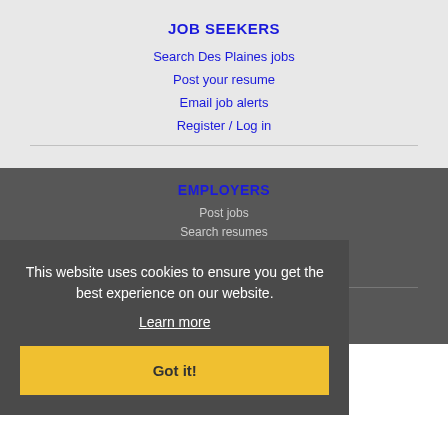JOB SEEKERS
Search Des Plaines jobs
Post your resume
Email job alerts
Register / Log in
EMPLOYERS
Post jobs
Search resumes
Email resume alerts
Advertise
This website uses cookies to ensure you get the best experience on our website.
Learn more
Got it!
IMMIGRATION SPECIALISTS
Post jobs